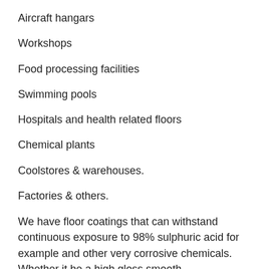Aircraft hangars
Workshops
Food processing facilities
Swimming pools
Hospitals and health related floors
Chemical plants
Coolstores & warehouses.
Factories & others.
We have floor coatings that can withstand continuous exposure to 98% sulphuric acid for example and other very corrosive chemicals. Whether it be a high gloss smooth